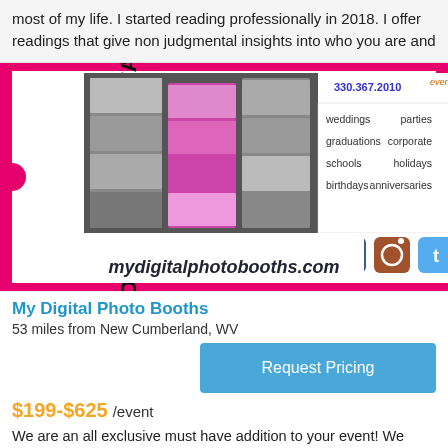most of my life. I started reading professionally in 2018. I offer readings that give non judgmental insights into who you are and
[Figure (photo): Photo booth rental advertisement banner styled as an admit-one ticket with photos of groups, listing weddings, parties, graduations, corporate, schools, holidays, birthdays, anniversaries with social media icons and mydigitalphotobooths.com]
My Digital Photo Booths
53 miles from New Cumberland, WV
Request Pricing
$199-$625 /event
We are an all exclusive must have addition to your event! We bring the fun, the props, the memories, and the entertainment